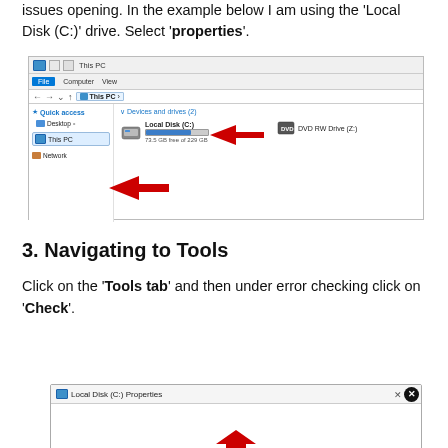issues opening. In the example below I am using the 'Local Disk (C:)' drive. Select 'properties'.
[Figure (screenshot): Windows Explorer showing 'This PC' with Local Disk (C:) and DVD RW Drive (Z:), with red arrows pointing to 'This PC' in sidebar and to Local Disk (C:) progress bar]
3. Navigating to Tools
Click on the 'Tools tab' and then under error checking click on 'Check'.
[Figure (screenshot): Local Disk (C:) Properties dialog window, partially visible, with a red arrow visible at the bottom]